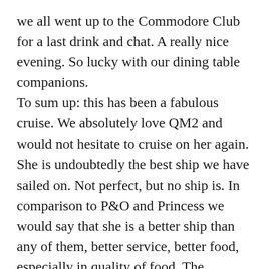we all went up to the Commodore Club for a last drink and chat. A really nice evening. So lucky with our dining table companions. To sum up: this has been a fabulous cruise. We absolutely love QM2 and would not hesitate to cruise on her again. She is undoubtedly the best ship we have sailed on. Not perfect, but no ship is. In comparison to P&O and Princess we would say that she is a better ship than any of them, better service, better food, especially in quality of food. The daytime entertainment is definitely the best of any ship. The evening entertainment, we think P&O has the edge. There have definitely been high and low points in the evening